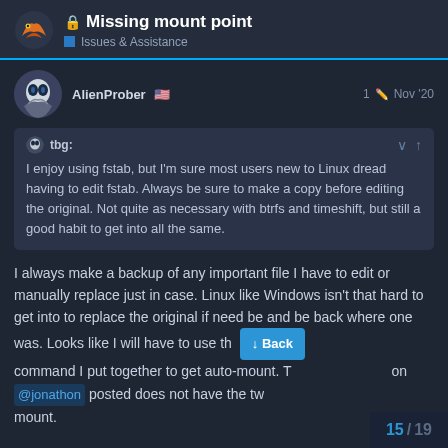Missing mount point — Issues & Assistance
AlienProber 🇺🇸  1  Nov '20
tbg: I enjoy using fstab, but I'm sure most users new to Linux dread having to edit fstab. Always be sure to make a copy before editing the original. Not quite as necessary with btrfs and timeshift, but still a good habit to get into all the same.
I always make a backup of any important file I have to edit or manually replace just in case. Linux like Windows isn't that hard to get into to replace the original if need be and be back where one was. Looks like I will have to use th command I put together to get auto-mount. T on @jonathon posted does not have the tw mount.